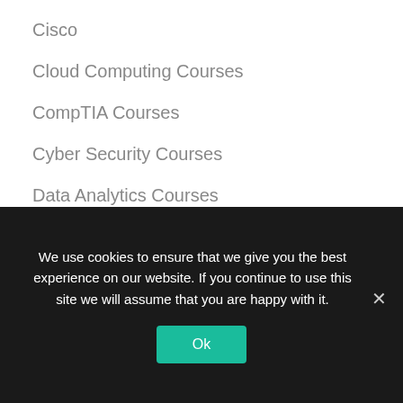Cisco
Cloud Computing Courses
CompTIA Courses
Cyber Security Courses
Data Analytics Courses
Database
DevOps Course
Game Development Courses
We use cookies to ensure that we give you the best experience on our website. If you continue to use this site we will assume that you are happy with it.
Ok